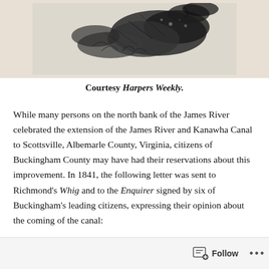[Figure (illustration): Black and white sketch/engraving of foliage or pine branches with detailed crosshatching, partially cropped at top of page.]
Courtesy Harpers Weekly.
While many persons on the north bank of the James River celebrated the extension of the James River and Kanawha Canal to Scottsville, Albemarle County, Virginia, citizens of Buckingham County may have had their reservations about this improvement. In 1841, the following letter was sent to Richmond's Whig and to the Enquirer signed by six of Buckingham's leading citizens, expressing their opinion about the coming of the canal:
Follow